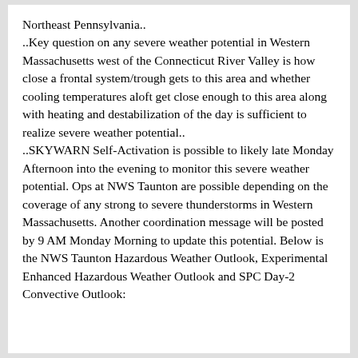Northeast Pennsylvania.. ..Key question on any severe weather potential in Western Massachusetts west of the Connecticut River Valley is how close a frontal system/trough gets to this area and whether cooling temperatures aloft get close enough to this area along with heating and destabilization of the day is sufficient to realize severe weather potential.. ..SKYWARN Self-Activation is possible to likely late Monday Afternoon into the evening to monitor this severe weather potential. Ops at NWS Taunton are possible depending on the coverage of any strong to severe thunderstorms in Western Massachusetts. Another coordination message will be posted by 9 AM Monday Morning to update this potential. Below is the NWS Taunton Hazardous Weather Outlook, Experimental Enhanced Hazardous Weather Outlook and SPC Day-2 Convective Outlook: